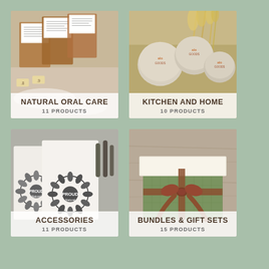[Figure (photo): Natural oral care products - kraft paper bags with labels on a floury surface]
NATURAL ORAL CARE
11 PRODUCTS
[Figure (photo): Kitchen and home products - round soap bars branded alo goods in a basket with dried grasses]
KITCHEN AND HOME
10 PRODUCTS
[Figure (photo): Accessories - white tote bags with Proud Natural sunflower print and dark utensils]
ACCESSORIES
11 PRODUCTS
[Figure (photo): Bundles and gift sets - green textured gift box with brown ribbon bow on wooden surface]
BUNDLES & GIFT SETS
15 PRODUCTS